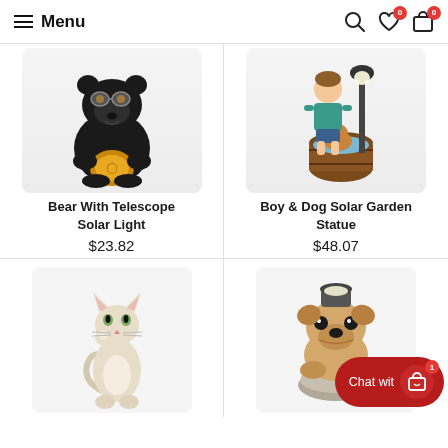Menu
[Figure (photo): Black bear figurine holding a golden orb/telescope, garden solar light statue]
Bear With Telescope Solar Light
$23.82
[Figure (photo): Boy and dog in a barrel fountain garden statue, solar powered]
Boy & Dog Solar Garden Statue
$48.07
[Figure (photo): White/cream cat figurine standing upright looking up, garden statue]
[Figure (photo): Pug dog figurine with a solar light on its head, sitting on stone, garden statue]